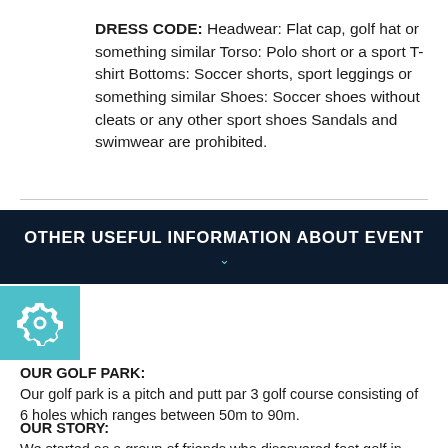DRESS CODE: Headwear: Flat cap, golf hat or something similar Torso: Polo short or a sport T-shirt Bottoms: Soccer shorts, sport leggings or something similar Shoes: Soccer shoes without cleats or any other sport shoes Sandals and swimwear are prohibited.
OTHER USEFUL INFORMATION ABOUT EVENT
[Figure (illustration): Gear/settings icon in white on teal background square]
OUR GOLF PARK:
Our golf park is a pitch and putt par 3 golf course consisting of 6 holes which ranges between 50m to 90m.
OUR STORY:
We started as a group of friends who discovered foot golf in 2016 at Heritage Golf Club. We